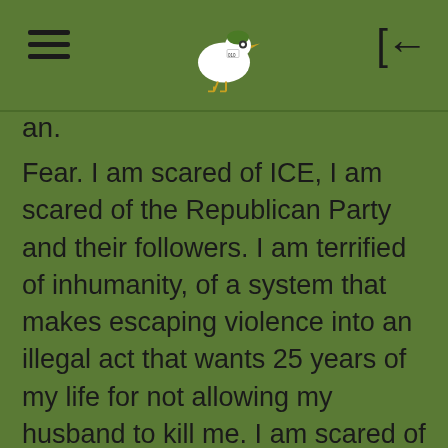[hamburger menu] [bird logo] [back arrow]
an.
Fear. I am scared of ICE, I am scared of the Republican Party and their followers. I am terrified of inhumanity, of a system that makes escaping violence into an illegal act that wants 25 years of my life for not allowing my husband to kill me. I am scared of the future. I am scared of the past. I am scared of losing my son. I am scared I won't be able to give him a chance at a future he deserves. I am scared he won't get a baseball game this summer. I am scared he will lose hope. I am scared he won't cope with me, or without me.